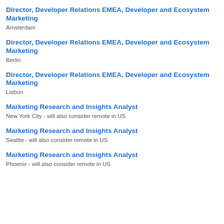Director, Developer Relations EMEA, Developer and Ecosystem Marketing
Amsterdam
Director, Developer Relations EMEA, Developer and Ecosystem Marketing
Berlin
Director, Developer Relations EMEA, Developer and Ecosystem Marketing
Lisbon
Marketing Research and Insights Analyst
New York City - will also consider remote in US
Marketing Research and Insights Analyst
Seattle - will also consider remote in US
Marketing Research and Insights Analyst
Phoenix - will also consider remote in US